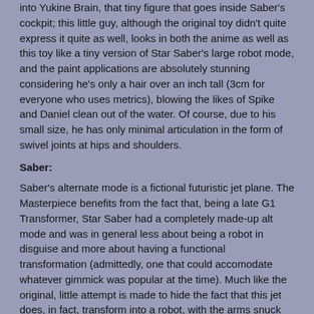into Yukine Brain, that tiny figure that goes inside Saber's cockpit; this little guy, although the original toy didn't quite express it quite as well, looks in both the anime as well as this toy like a tiny version of Star Saber's large robot mode, and the paint applications are absolutely stunning considering he's only a hair over an inch tall (3cm for everyone who uses metrics), blowing the likes of Spike and Daniel clean out of the water. Of course, due to his small size, he has only minimal articulation in the form of swivel joints at hips and shoulders.
Saber:
Saber's alternate mode is a fictional futuristic jet plane. The Masterpiece benefits from the fact that, being a late G1 Transformer, Star Saber had a completely made-up alt mode and was in general less about being a robot in disguise and more about having a functional transformation (admittedly, one that could accomodate whatever gimmick was popular at the time). Much like the original, little attempt is made to hide the fact that this jet does, in fact, transform into a robot, with the arms snuck under the wings being the primary offender. In this mode, the little Brain guy fits snugly inside the cockpit, cast in translucent blue plastic with the frame painted red, and the interior has detailed control panels on all three sides, although painted entirely in silver. It also has landing gear with rolling wheels, folding down from the feet and nosecone.
The transformation is fairly simple; the nosecone comes off, the arms fold out, elbows extend, fists fold out, legs extend, feet fold out...and that's pretty much it. The cockpit slides back slightly, but this is one of those things that is purely done for cosmetic reasons and only serves a real purpose in the large robot mode. Of course, you now have have